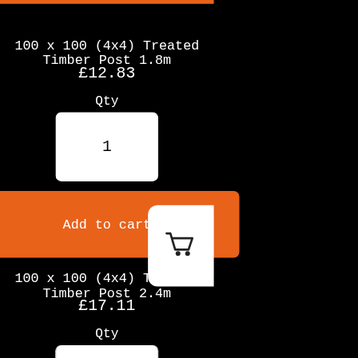100 x 100 (4x4) Treated Timber Post 1.8m
£12.83
Qty
1
Add to cart
100 x 100 (4x4) Treated Timber Post 2.4m
£17.11
Qty
1
Add to cart
[Figure (illustration): Shopping cart icon button on white rounded rectangle, positioned on right edge]